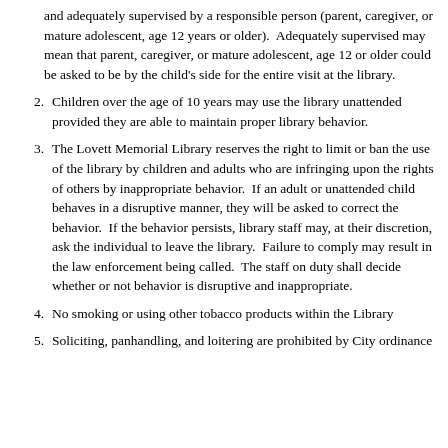and adequately supervised by a responsible person (parent, caregiver, or mature adolescent, age 12 years or older).  Adequately supervised may mean that parent, caregiver, or mature adolescent, age 12 or older could be asked to be by the child's side for the entire visit at the library.
2. Children over the age of 10 years may use the library unattended provided they are able to maintain proper library behavior.
3. The Lovett Memorial Library reserves the right to limit or ban the use of the library by children and adults who are infringing upon the rights of others by inappropriate behavior.  If an adult or unattended child behaves in a disruptive manner, they will be asked to correct the behavior.  If the behavior persists, library staff may, at their discretion, ask the individual to leave the library.  Failure to comply may result in the law enforcement being called.  The staff on duty shall decide whether or not behavior is disruptive and inappropriate.
4. No smoking or using other tobacco products within the Library
5. Soliciting, panhandling, and loitering are prohibited by City ordinance